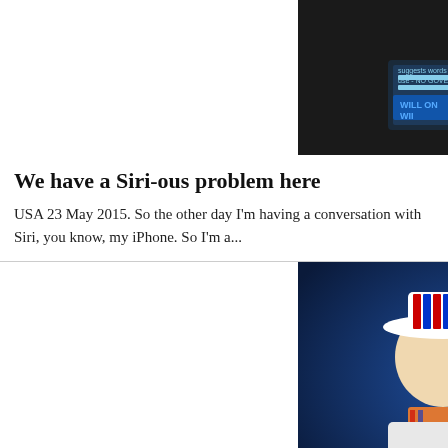[Figure (photo): Black and white photo of two people, one holding a device with text visible]
We have a Siri-ous problem here
USA 23 May 2015. So the other day I'm having a conversation with Siri, you know, my iPhone. So I'm a...
[Figure (photo): Color photo of two women at an event, one wearing a patriotic hat and scarf, the other in black holding a drink glass. Caption: dPA]
Blaming the Baby Boomers does today's young people no favours
It's all your fault!HONDA STAN HONDA / PA Archive/PA ImagesA new report by the Ready for Ageing Alli...